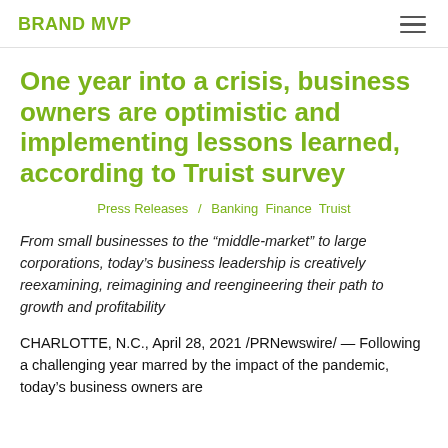BRAND MVP
One year into a crisis, business owners are optimistic and implementing lessons learned, according to Truist survey
Press Releases / Banking Finance Truist
From small businesses to the “middle-market” to large corporations, today’s business leadership is creatively reexamining, reimagining and reengineering their path to growth and profitability
CHARLOTTE, N.C., April 28, 2021 /PRNewswire/ — Following a challenging year marred by the impact of the pandemic, today’s business owners are